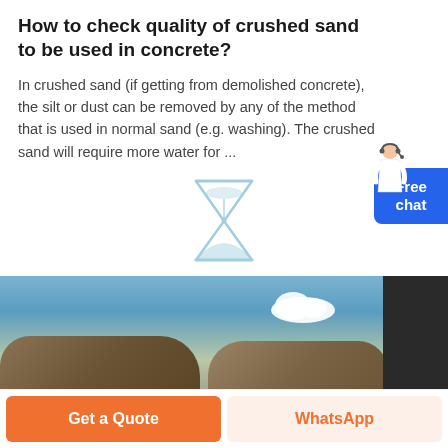How to check quality of crushed sand to be used in concrete?
In crushed sand (if getting from demolished concrete), the silt or dust can be removed by any of the method that is used in normal sand (e.g. washing). The crushed sand will require more water for ...
[Figure (illustration): Hourglass / loading icon outline in light blue color]
[Figure (photo): Outdoor photo showing mounds of crushed sand/gravel under a blue sky with a white cloud. A dark panel on the right side.]
[Figure (other): Free chat button with agent figure illustration in top right corner]
Get a Quote
WhatsApp